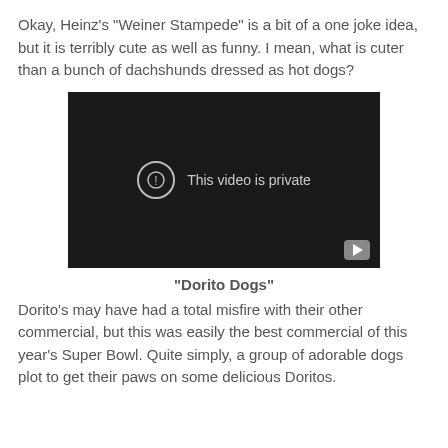Okay, Heinz's "Weiner Stampede" is a bit of a one joke idea, but it is terribly cute as well as funny. I mean, what is cuter than a bunch of dachshunds dressed as hot dogs?
[Figure (screenshot): A YouTube video player showing a private video with a lock/warning icon and the message 'This video is private', with a play button in the bottom right corner.]
"Dorito Dogs"
Dorito's may have had a total misfire with their other commercial, but this was easily the best commercial of this year's Super Bowl. Quite simply, a group of adorable dogs plot to get their paws on some delicious Doritos.